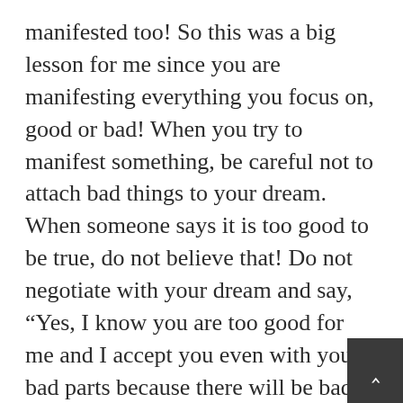manifested too! So this was a big lesson for me since you are manifesting everything you focus on, good or bad! When you try to manifest something, be careful not to attach bad things to your dream. When someone says it is too good to be true, do not believe that! Do not negotiate with your dream and say, “Yes, I know you are too good for me and I accept you even with your bad parts because there will be bad parts.” No, it can be so good, even better than you have ever imagined, believe this!

After years of depression, living in a nightmare where I was supposed to be living my dream, having suicidal thoug…